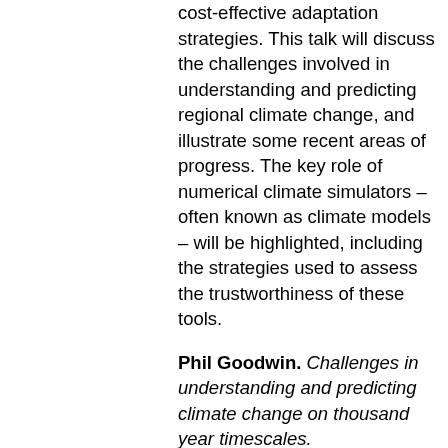cost-effective adaptation strategies. This talk will discuss the challenges involved in understanding and predicting regional climate change, and illustrate some recent areas of progress. The key role of numerical climate simulators – often known as climate models – will be highlighted, including the strategies used to assess the trustworthiness of these tools.
Phil Goodwin. Challenges in understanding and predicting climate change on thousand year timescales. Understanding and predicting the effects of carbon emissions on Earth's climate over the next 100 years is of pressing importance to society. However, the impacts of today's carbon emissions will not be confined to the next century, but will instead last for many thousands of years. This talk will discuss the challenges involved in understanding and predicting the